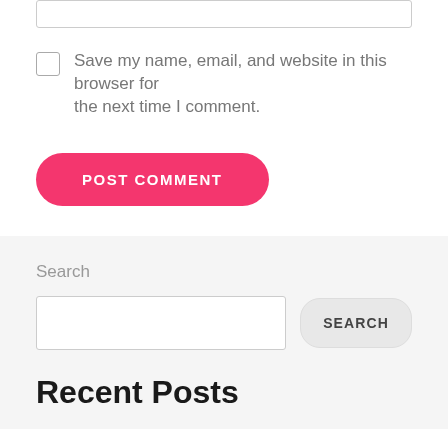Save my name, email, and website in this browser for the next time I comment.
POST COMMENT
Search
SEARCH
Recent Posts